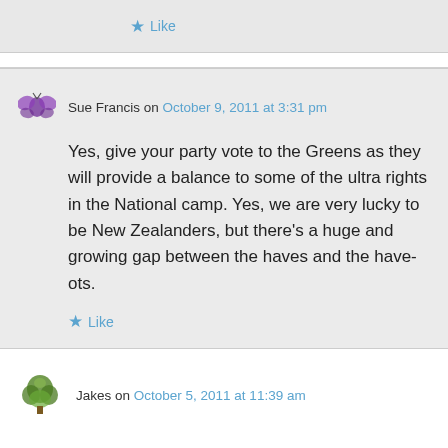★ Like
Sue Francis on October 9, 2011 at 3:31 pm
Yes, give your party vote to the Greens as they will provide a balance to some of the ultra rights in the National camp. Yes, we are very lucky to be New Zealanders, but there's a huge and growing gap between the haves and the have-ots.
★ Like
Jakes on October 5, 2011 at 11:39 am